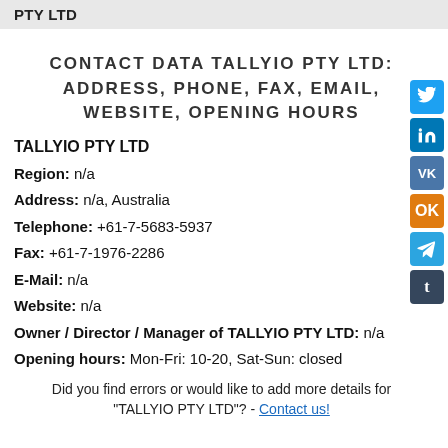PTY LTD
CONTACT DATA TALLYIO PTY LTD: ADDRESS, PHONE, FAX, EMAIL, WEBSITE, OPENING HOURS
TALLYIO PTY LTD
Region: n/a
Address: n/a, Australia
Telephone: +61-7-5683-5937
Fax: +61-7-1976-2286
E-Mail: n/a
Website: n/a
Owner / Director / Manager of TALLYIO PTY LTD: n/a
Opening hours: Mon-Fri: 10-20, Sat-Sun: closed
Did you find errors or would like to add more details for "TALLYIO PTY LTD"? - Contact us!